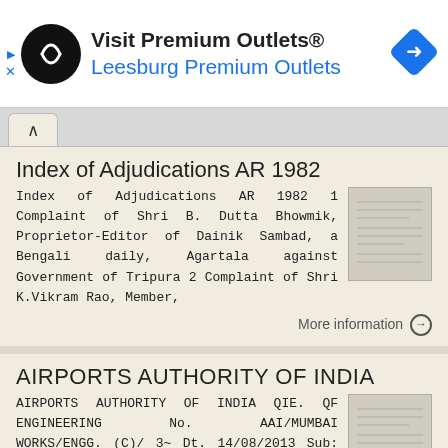[Figure (screenshot): Advertisement banner for Visit Premium Outlets® / Leesburg Premium Outlets with circular logo and navigation icon]
Index of Adjudications AR 1982
Index of Adjudications AR 1982 1 Complaint of Shri B. Dutta Bhowmik, Proprietor-Editor of Dainik Sambad, a Bengali daily, Agartala against Government of Tripura 2 Complaint of Shri K.Vikram Rao, Member,
More information →
AIRPORTS AUTHORITY OF INDIA
AIRPORTS AUTHORITY OF INDIA QIE. QF ENGINEERING No. AAI/MUMBAI WORKS/ENGG. (C)/ 3~ Dt. 14/08/2013 Sub: Visit of Associations Regres 'n.t$ltives & GM